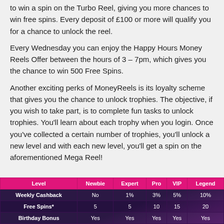to win a spin on the Turbo Reel, giving you more chances to win free spins. Every deposit of £100 or more will qualify you for a chance to unlock the reel.
Every Wednesday you can enjoy the Happy Hours Money Reels Offer between the hours of 3 – 7pm, which gives you the chance to win 500 Free Spins.
Another exciting perks of MoneyReels is its loyalty scheme that gives you the chance to unlock trophies. The objective, if you wish to take part, is to complete fun tasks to unlock trophies. You'll learn about each trophy when you login. Once you've collected a certain number of trophies, you'll unlock a new level and with each new level, you'll get a spin on the aforementioned Mega Reel!
| Level | Newbie | Expert | Pro | VIP | Legend |
| --- | --- | --- | --- | --- | --- |
| Weekly Cashback | No | 1% | 3% | 5% | 10% |
| Free Spins* | 5 | 5 | 10 | 15 | 20 |
| Birthday Bonus | Yes | Yes | Yes | Yes | Yes |